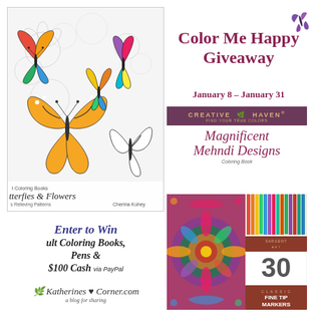[Figure (illustration): Adult coloring book cover - Butterflies & Flowers with colorful butterfly illustrations on a white floral background, titled 'Butterflies & Flowers' with 'Stress Relieving Patterns' subtitle, by Cherina Kohey]
Color Me Happy Giveaway
January 8 – January 31
[Figure (illustration): Creative Haven Magnificent Mehndi Designs Coloring Book cover with brand banner in dark purple]
Enter to Win Adult Coloring Books, Pens & $100 Cash via PayPal
Katherines Corner.com a blog for sharing
[Figure (illustration): Colorful Mehndi design page showing vibrant purple, green, pink patterns]
[Figure (illustration): Sargent Art 30 Classic Fine Tip Markers package with colorful marker tips visible]